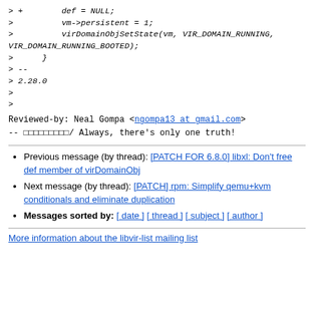> +        def = NULL;
>          vm->persistent = 1;
>          virDomainObjSetState(vm, VIR_DOMAIN_RUNNING,
VIR_DOMAIN_RUNNING_BOOTED);
>      }
> --
> 2.28.0
>
>
Reviewed-by: Neal Gompa <ngompa13 at gmail.com>
--
□□□□□□□□□/ Always, there's only one truth!
Previous message (by thread): [PATCH FOR 6.8.0] libxl: Don't free def member of virDomainObj
Next message (by thread): [PATCH] rpm: Simplify qemu+kvm conditionals and eliminate duplication
Messages sorted by: [ date ] [ thread ] [ subject ] [ author ]
More information about the libvir-list mailing list